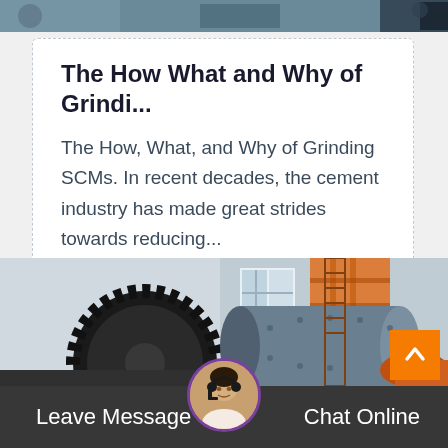[Figure (photo): Partial top strip showing what appears to be an industrial or outdoor scene]
The How What and Why of Grindi...
The How, What, and Why of Grinding SCMs. In recent decades, the cement industry has made great strides towards reducing...
[Figure (photo): Industrial ball mill grinding machinery with large gear wheel, cylindrical drum, and orange scaffolding structure in the background]
Leave Message
Chat Online